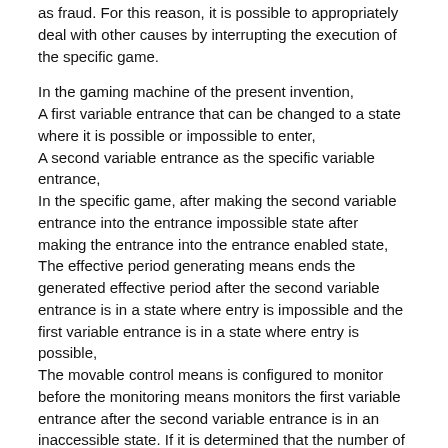as fraud. For this reason, it is possible to appropriately deal with other causes by interrupting the execution of the specific game.
In the gaming machine of the present invention, A first variable entrance that can be changed to a state where it is possible or impossible to enter, A second variable entrance as the specific variable entrance, In the specific game, after making the second variable entrance into the entrance impossible state after making the entrance into the entrance enabled state, The effective period generating means ends the generated effective period after the second variable entrance is in a state where entry is impossible and the first variable entrance is in a state where entry is possible, The movable control means is configured to monitor before the monitoring means monitors the first variable entrance after the second variable entrance is in an inaccessible state. If it is determined that the number of balls entered does not match the number of discharged balls, the movable part may be controlled to perform the specific operation.